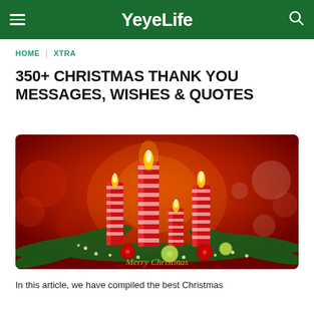YeyeLife
HOME | XTRA
350+ CHRISTMAS THANK YOU MESSAGES, WISHES & QUOTES
[Figure (photo): Christmas candles with red and white stripes, surrounded by pine branches and ornament balls on a red bokeh background. Gold script text reads 'Merry Christmas' at the bottom.]
In this article, we have compiled the best Christmas